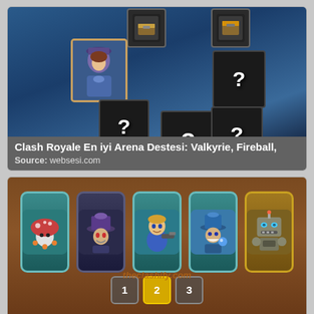[Figure (screenshot): Clash Royale deck builder screenshot with blue background showing a character card (Valkyrie) and several question mark cards on a blue arena board]
Clash Royale En iyi Arena Destesi: Valkyrie, Fireball,
Source: websesi.com
[Figure (screenshot): Rush Royale Arena 7 deck screenshot with wooden background showing 5 unit cards and pagination buttons 1, 2 (active), 3 with theclashify.com watermark]
Top 10 Best Rush Royale Arena 7 Decks 2022
Source: theclashify.com